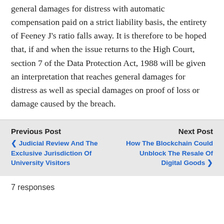general damages for distress with automatic compensation paid on a strict liability basis, the entirety of Feeney J's ratio falls away. It is therefore to be hoped that, if and when the issue returns to the High Court, section 7 of the Data Protection Act, 1988 will be given an interpretation that reaches general damages for distress as well as special damages on proof of loss or damage caused by the breach.
Previous Post ❮ Judicial Review And The Exclusive Jurisdiction Of University Visitors
Next Post How The Blockchain Could Unblock The Resale Of Digital Goods ❯
7 responses